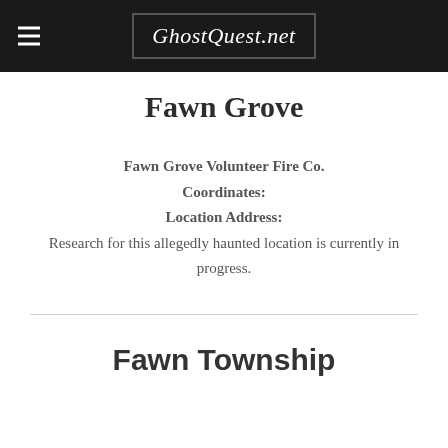GhostQuest.net
Fawn Grove
Fawn Grove Volunteer Fire Co.
Coordinates:
Location Address:
Research for this allegedly haunted location is currently in progress.
Fawn Township